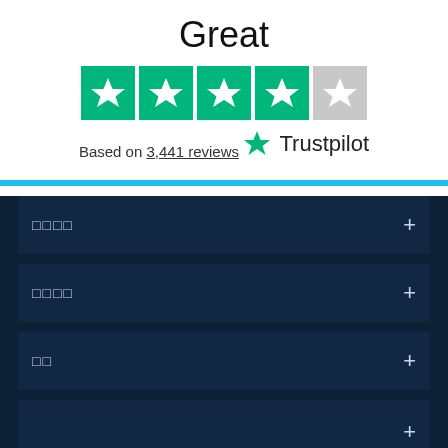Great
[Figure (other): Trustpilot star rating: 4 filled green stars and 1 empty grey star]
Based on 3,441 reviews
[Figure (logo): Trustpilot logo with green star and 'Trustpilot' text]
□□□□ +
□□□□ +
□□ +
+
© 2023 ... Limited